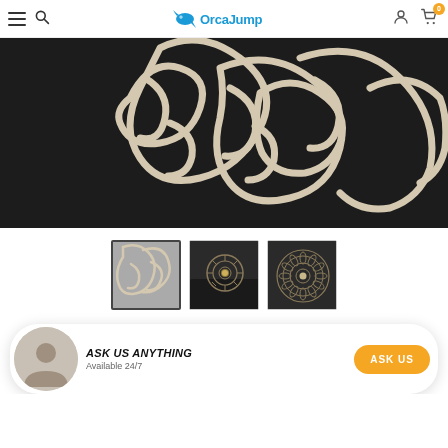OrcaJump navigation bar with hamburger menu, search icon, logo, account icon, and cart icon (0 items)
[Figure (photo): Close-up product photo on dark background showing cream/beige colored decorative metalwork with intricate cutout patterns resembling Arabic calligraphy or floral lattice design]
[Figure (photo): Three product thumbnail images: first shows detail of the cream lattice pattern (active/selected), second shows the full decorative piece on a dark surface with a candle holder, third shows a circular sunburst/floral decorative piece on dark background]
ASK US ANYTHING
Available 24/7
ASK US